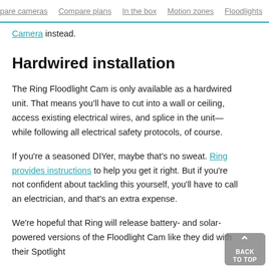pare cameras  Compare plans  In the box  Motion zones  Floodlights  Si
Camera instead.
Hardwired installation
The Ring Floodlight Cam is only available as a hardwired unit. That means you'll have to cut into a wall or ceiling, access existing electrical wires, and splice in the unit—while following all electrical safety protocols, of course.
If you're a seasoned DIYer, maybe that's no sweat. Ring provides instructions to help you get it right. But if you're not confident about tackling this yourself, you'll have to call an electrician, and that's an extra expense.
We're hopeful that Ring will release battery- and solar-powered versions of the Floodlight Cam like they did with their Spotlight